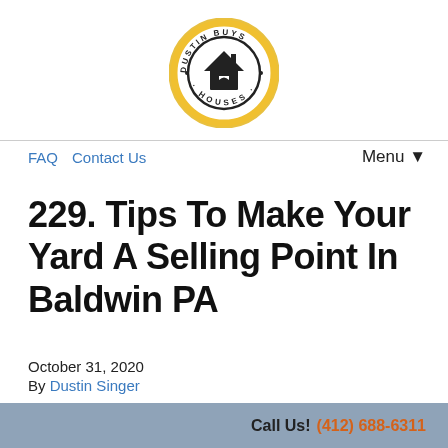[Figure (logo): Dustin Buys Houses circular logo with house icon in center, gold/yellow ring border, black text around ring reading DUSTIN BUYS HOUSES]
FAQ   Contact Us   Menu ▼
229. Tips To Make Your Yard A Selling Point In Baldwin PA
October 31, 2020
By Dustin Singer
We Buy Houses In Baldwin Pennsylvania As-is...
Call Us! (412) 688-6311